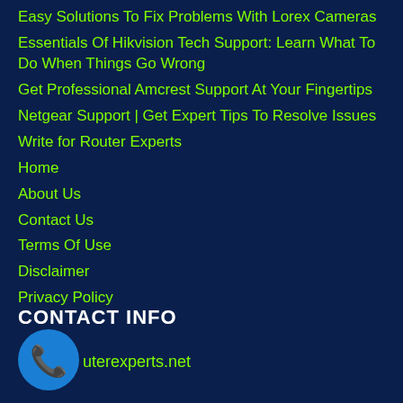Easy Solutions To Fix Problems With Lorex Cameras
Essentials Of Hikvision Tech Support: Learn What To Do When Things Go Wrong
Get Professional Amcrest Support At Your Fingertips
Netgear Support | Get Expert Tips To Resolve Issues
Write for Router Experts
Home
About Us
Contact Us
Terms Of Use
Disclaimer
Privacy Policy
CONTACT INFO
[Figure (logo): Blue circle with white phone/handset icon]
routerexperts.net